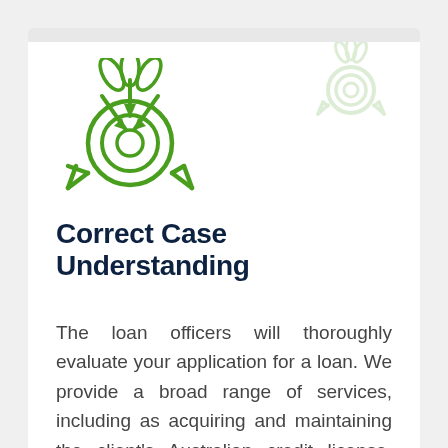[Figure (illustration): Green line-art icon of a target/bullseye with arrows and decorative elements, representing correct case understanding]
[Figure (illustration): Faint watermark green line-art icon similar to the main icon, positioned top-right corner]
Correct Case Understanding
The loan officers will thoroughly evaluate your application for a loan. We provide a broad range of services, including as acquiring and maintaining the client's Australian credit license. They'll look at sections of your file that require improvement and go through them with you. The client may also meet with our